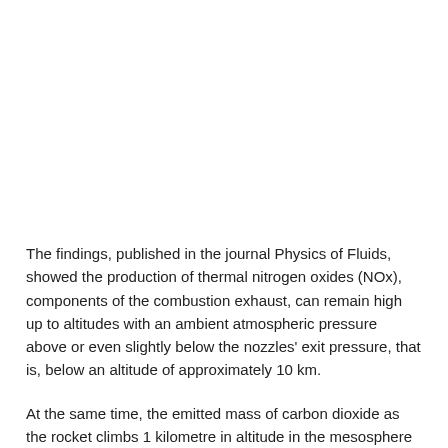The findings, published in the journal Physics of Fluids, showed the production of thermal nitrogen oxides (NOx), components of the combustion exhaust, can remain high up to altitudes with an ambient atmospheric pressure above or even slightly below the nozzles' exit pressure, that is, below an altitude of approximately 10 km.
At the same time, the emitted mass of carbon dioxide as the rocket climbs 1 kilometre in altitude in the mesosphere is equivalent to that contained in 26 cubic kilometres of atmospheric air at the same altitude.